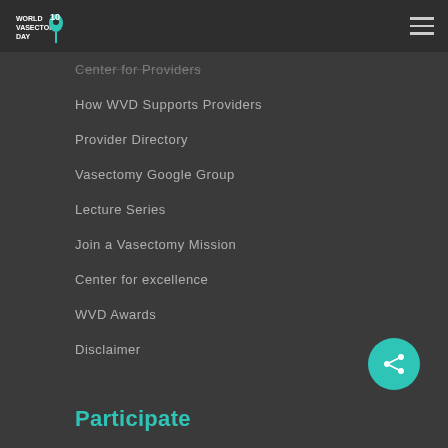World Vasectomy Day
Center for Providers (faded/partial)
How WVD Supports Providers
Provider Directory
Vasectomy Google Group
Lecture Series
Join a Vasectomy Mission
Center for excellence
WVD Awards
Disclaimer
Participate